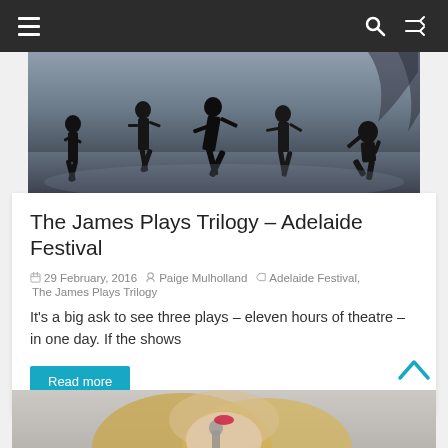Navigation bar with hamburger menu, search icon, and shuffle icon
[Figure (photo): Dark theatrical stage photo showing silhouetted figures in dramatic poses against a dim blue-grey lit background]
The James Plays Trilogy – Adelaide Festival
29 February, 2016   Paige Mulholland   Adelaide Festival, The James Plays Trilogy
It's a big ask to see three plays – eleven hours of theatre – in one day. If the shows
Read more
[Figure (photo): Partial photo of a blonde woman with bright red lipstick holding a microphone, shown from about the shoulders up against a light background]